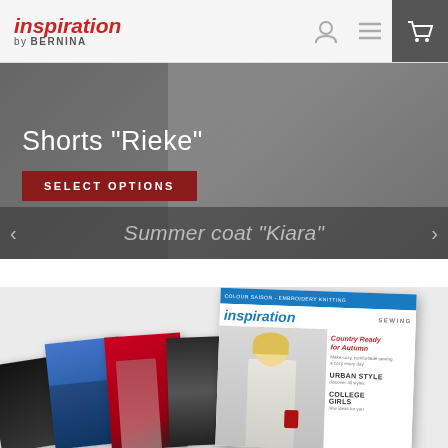[Figure (screenshot): Inspiration by BERNINA website header with logo, user icon, hamburger menu, and cart icon on dark background]
Shorts "Rieke"
SELECT OPTIONS
Summer coat "Kiara"
[Figure (photo): Magazine covers fanned out showing Inspiration Sewing magazine issues, with fashion photos of women on covers. Main cover shows blonde woman in beige coat, with text: Country Ready for Autumn, URBAN STYLE, COLLEGE GIRLS]